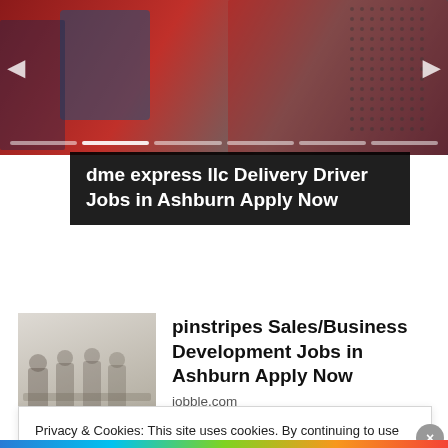[Figure (photo): Top banner showing a person near a red truck/vehicle, with navigation arrows and progress bar dots overlay]
dme express llc Delivery Driver Jobs in Ashburn Apply Now
[Figure (photo): Thumbnail image of people in a business meeting or office setting, faded/muted tones]
pinstripes Sales/Business Development Jobs in Ashburn Apply Now
jobble.com
Privacy & Cookies: This site uses cookies. By continuing to use this website, you agree to their use.
To find out more, including how to control cookies, see here:
Cookie Policy
Close and accept